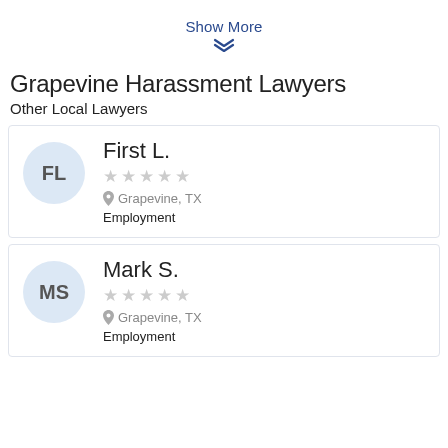Show More
Grapevine Harassment Lawyers
Other Local Lawyers
First L. ☆☆☆☆☆ Grapevine, TX Employment
Mark S. ☆☆☆☆☆ Grapevine, TX Employment